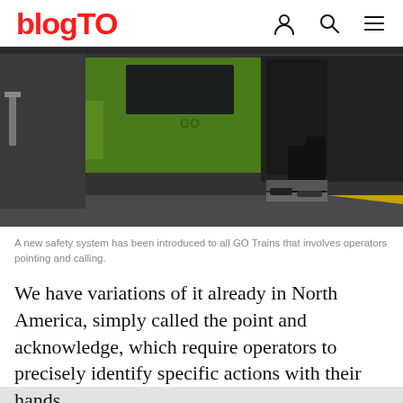blogTO
[Figure (photo): A GO Train at a station platform. The green train car is visible with its doors open and a person boarding. The platform has a yellow tactile strip along the edge. The scene is photographed from platform level.]
A new safety system has been introduced to all GO Trains that involves operators pointing and calling.
We have variations of it already in North America, simply called the point and acknowledge, which require operators to precisely identify specific actions with their hands.